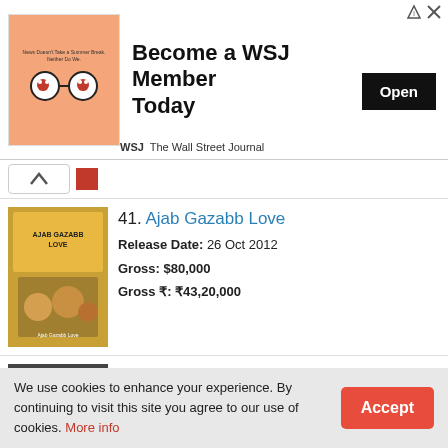[Figure (illustration): WSJ advertisement banner: 'Become a WSJ Member Today' with Open button and WSJ logo]
41. Ajab Gazabb Love | Release Date: 26 Oct 2012 | Gross: $80,000 | Gross ₹: ₹43,20,000
42. Bhoot Returns | Release Date: 12 Oct 2012 | Gross: $25,000 | Gross ₹: ₹13,25,000
43. Paan Singh Tomar | Release Date: 2 Mar 2012
We use cookies to enhance your experience. By continuing to visit this site you agree to our use of cookies. More info